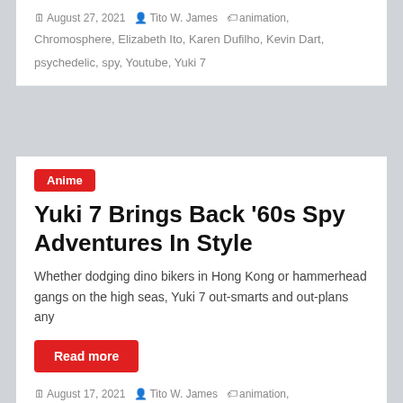August 27, 2021 · Tito W. James · animation, Chromosphere, Elizabeth Ito, Karen Dufilho, Kevin Dart, psychedelic, spy, Youtube, Yuki 7
Anime
Yuki 7 Brings Back '60s Spy Adventures In Style
Whether dodging dino bikers in Hong Kong or hammerhead gangs on the high seas, Yuki 7 out-smarts and out-plans any
Read more
August 17, 2021 · Tito W. James · animation, Chromosphere, Elizabeth Ito, Karen Dufilho, Kevin Dart, psychedelic, spy, Yuki 7